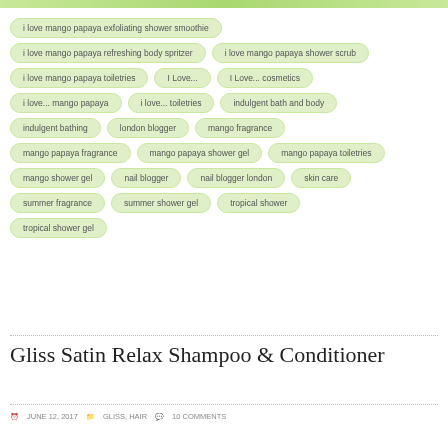i love mango papaya exfoliating shower smoothie
i love mango papaya refreshing body spritzer
i love mango papaya shower scrub
i love mango papaya toiletries
I Love...
I Love... cosmetics
i love... mango papaya
i love... toiletries
indulgent bath and body
indulgent bathing
london blogger
mango fragrance
mango papaya fragrance
mango papaya shower gel
mango papaya toiletries
mango shower gel
nail blogger
nail blogger london
skin care
summer fragrance
summer shower gel
tropical shower
tropical shower gel
Gliss Satin Relax Shampoo & Conditioner
JUNE 12, 2017   GLISS, HAIR   10 COMMENTS